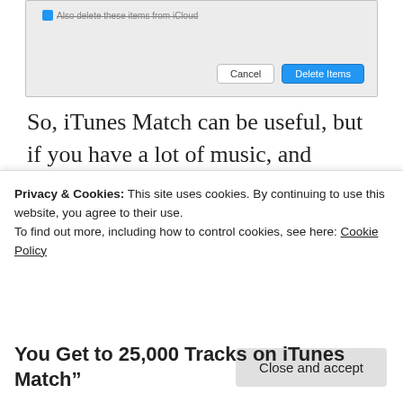[Figure (screenshot): macOS dialog box with Cancel and Delete Items buttons]
So, iTunes Match can be useful, but if you have a lot of music, and continue to acquire more, keep an eye on that 25,000 track limit.
[Figure (logo): Twitter bird icon in blue circle]
Tech
Privacy & Cookies: This site uses cookies. By continuing to use this website, you agree to their use.
To find out more, including how to control cookies, see here: Cookie Policy
Close and accept
You Get to 25,000 Tracks on iTunes Match”